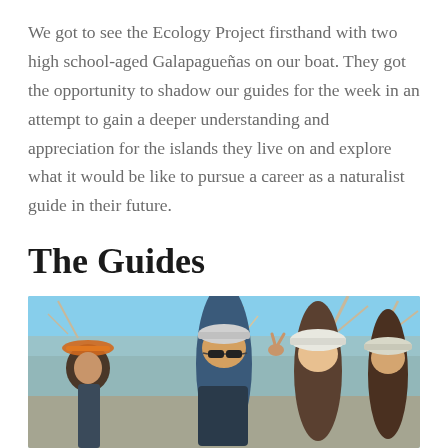We got to see the Ecology Project firsthand with two high school-aged Galapagueñas on our boat. They got the opportunity to shadow our guides for the week in an attempt to gain a deeper understanding and appreciation for the islands they live on and explore what it would be like to pursue a career as a naturalist guide in their future.
The Guides
[Figure (photo): Group of people including guides and students posed outdoors in the Galapagos, wearing hats and sunglasses, with dry trees and blue sky in the background.]